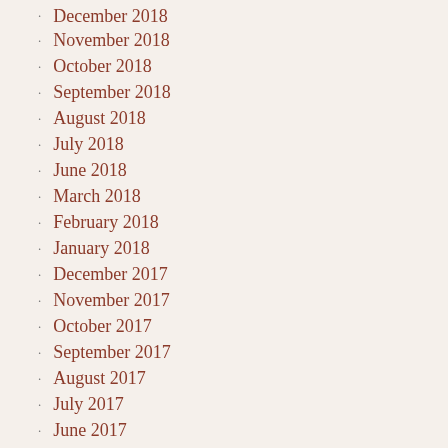December 2018
November 2018
October 2018
September 2018
August 2018
July 2018
June 2018
March 2018
February 2018
January 2018
December 2017
November 2017
October 2017
September 2017
August 2017
July 2017
June 2017
May 2017
April 2017